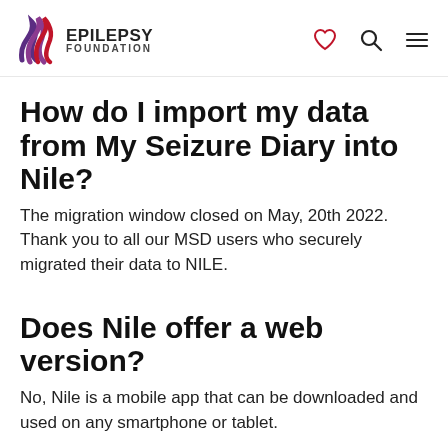[Figure (logo): Epilepsy Foundation logo with flame/ribbon icon and navigation icons (heart, search, menu)]
How do I import my data from My Seizure Diary into Nile?
The migration window closed on May, 20th 2022. Thank you to all our MSD users who securely migrated their data to NILE.
Does Nile offer a web version?
No, Nile is a mobile app that can be downloaded and used on any smartphone or tablet.